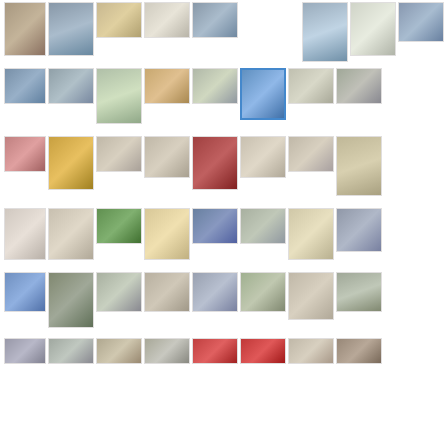[Figure (photo): Grid of travel/architectural photographs arranged in rows, showing various buildings, churches, streets, food, sculptures, and decorative details]
[Figure (photo): Row 1: stone sculpture, gray building facade, tan/brown building, white building colonnade, apartment building, blue sky building, modern high-rise, modern glass building]
[Figure (photo): Row 2: waterway street, gray street scene, church with cross, colorful building facade, stone church exterior, blue poster/billboard, open square with building, street facade]
[Figure (photo): Row 3: pink-red building, golden chalice/font, stone carved detail, carved stone portal, red ornate door, carved stone detail, stone carving detail, gothic chapel facade]
[Figure (photo): Row 4: no dogs sign, carved stone column detail, green hillside, woman with food, building with tiles mural, old building facade, man eating, historic building]
[Figure (photo): Row 5: blue tile building, green kiosk with woman, arcade street passage, colonnaded arcade street, busy pedestrian street, graffiti/mural, stone seal/medallion, gothic interior]
[Figure (photo): Row 6 (partial): various architectural and cultural details]